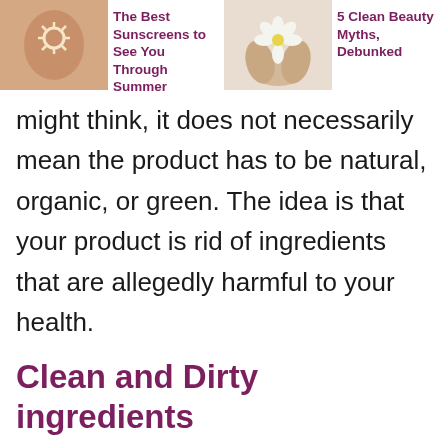[Figure (other): Thumbnail image of a person's back with a sun symbol drawn in sunscreen, representing a sunscreen article]
The Best Sunscreens to See You Through Summer
[Figure (photo): Thumbnail image of hands holding a white flower, representing a clean beauty article]
5 Clean Beauty Myths, Debunked
might think, it does not necessarily mean the product has to be natural, organic, or green. The idea is that your product is rid of ingredients that are allegedly harmful to your health.
Clean and Dirty ingredients
If a product contains what clean beauty brands consider to be ‘toxic’ or harmful to human health,  it’s classed as dirty, and each brand has a different dirty list. One example of a ‘dirty list’